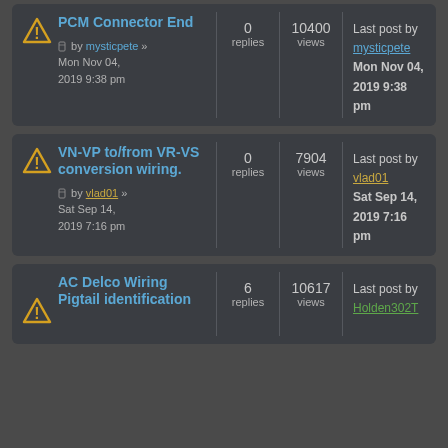| Topic | Replies | Views | Last Post |
| --- | --- | --- | --- |
| PCM Connector End
by mysticpete » Mon Nov 04, 2019 9:38 pm | 0 replies | 10400 views | Last post by mysticpete
Mon Nov 04, 2019 9:38 pm |
| VN-VP to/from VR-VS conversion wiring.
by vlad01 » Sat Sep 14, 2019 7:16 pm | 0 replies | 7904 views | Last post by vlad01
Sat Sep 14, 2019 7:16 pm |
| AC Delco Wiring Pigtail identification
by ... | 6 replies | 10617 views | Last post by Holden302T |